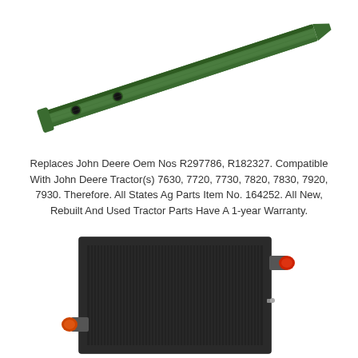[Figure (photo): A long green metal bar/rail with two holes, angled diagonally from upper-left to lower-right, appearing to be a John Deere tractor part (drawbar or tie rod)]
Replaces John Deere Oem Nos R297786, R182327. Compatible With John Deere Tractor(s) 7630, 7720, 7730, 7820, 7830, 7920, 7930. Therefore. All States Ag Parts Item No. 164252. All New, Rebuilt And Used Tractor Parts Have A 1-year Warranty.
[Figure (photo): A black rectangular radiator/cooler unit with red fittings/ports on left and right sides, with vertical fin structure visible, appearing to be a tractor radiator part]